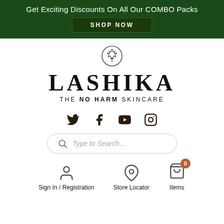Get Exciting Discounts On All Our COMBO Packs
SHOP NOW
[Figure (logo): Lashika skincare brand logo with maple leaf circle icon, large serif LASHIKA text, and tagline THE NO HARM SKINCARE]
[Figure (infographic): Social media icons row: Twitter, Facebook, YouTube, Instagram]
Type to Search...
Sign In / Registration
Store Locator
Items